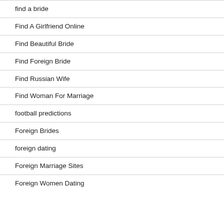find a bride
Find A Girlfriend Online
Find Beautiful Bride
Find Foreign Bride
Find Russian Wife
Find Woman For Marriage
football predictions
Foreign Brides
foreign dating
Foreign Marriage Sites
Foreign Women Dating